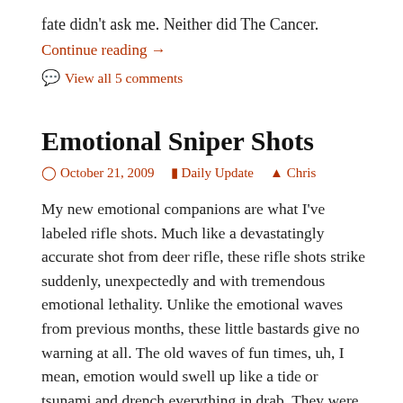fate didn't ask me.  Neither did The Cancer.
Continue reading →
🗨 View all 5 comments
Emotional Sniper Shots
🕐 October 21, 2009    🗂 Daily Update    👤 Chris
My new emotional companions are what I've labeled rifle shots.  Much like a devastatingly accurate shot from deer rifle, these rifle shots strike suddenly, unexpectedly and with tremendous emotional lethality.  Unlike the emotional waves from previous months, these little bastards give no warning at all.  The old waves of fun times, uh, I mean, emotion would swell up like a tide or tsunami and drench everything in drab.  They were very